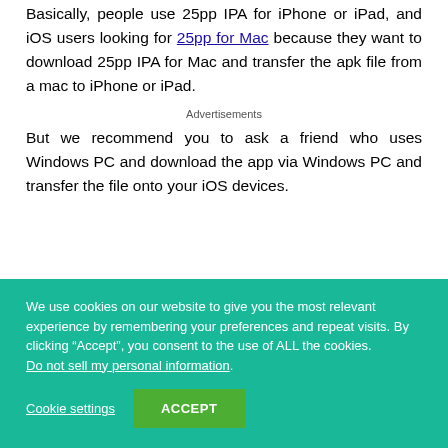Basically, people use 25pp IPA for iPhone or iPad, and iOS users looking for 25pp for Mac because they want to download 25pp IPA for Mac and transfer the apk file from a mac to iPhone or iPad.
Advertisements
But we recommend you to ask a friend who uses Windows PC and download the app via Windows PC and transfer the file onto your iOS devices.
We use cookies on our website to give you the most relevant experience by remembering your preferences and repeat visits. By clicking “Accept”, you consent to the use of ALL the cookies. Do not sell my personal information.